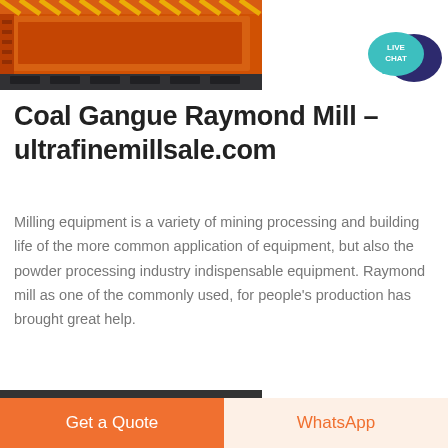[Figure (photo): Orange industrial milling/raymond mill equipment on a truck, photographed outdoors]
[Figure (infographic): Live Chat speech bubble icon — teal bubble with dark navy chat bubble behind, text LIVE CHAT in white]
Coal Gangue Raymond Mill - ultrafinemillsale.com
Milling equipment is a variety of mining processing and building life of the more common application of equipment, but also the powder processing industry indispensable equipment. Raymond mill as one of the commonly used, for people's production has brought great help.
[Figure (photo): Partial view of another industrial machine or equipment, dark tones, bottom of page]
Get a Quote    WhatsApp